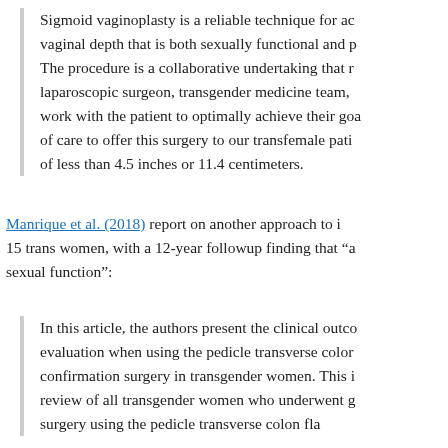Sigmoid vaginoplasty is a reliable technique for achieving vaginal depth that is both sexually functional and p... The procedure is a collaborative undertaking that requires laparoscopic surgeon, transgender medicine team, ... work with the patient to optimally achieve their goals of care to offer this surgery to our transfemale patients of less than 4.5 inches or 11.4 centimeters.
Manrique et al. (2018) report on another approach to i... 15 trans women, with a 12-year followup finding that "a... sexual function":
In this article, the authors present the clinical outco... evaluation when using the pedicle transverse colon... confirmation surgery in transgender women. This i... review of all transgender women who underwent g... surgery using the pedicle transverse colon flap...